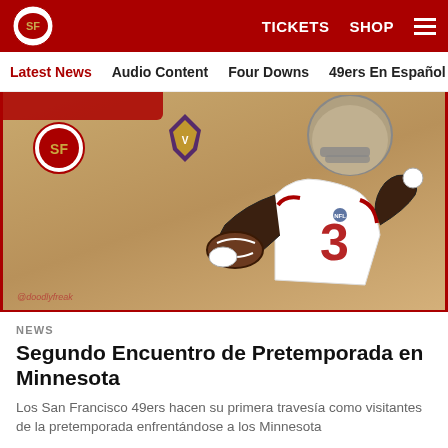49ers navigation: TICKETS SHOP
Latest News  Audio Content  Four Downs  49ers En Español  Ga
[Figure (illustration): Illustrated digital art of a San Francisco 49ers player in white uniform holding a football, wearing a gold helmet, with the 49ers logo and Minnesota Vikings logo in the background on a tan/golden background. Watermark '@doodlyfreak' in bottom left.]
NEWS
Segundo Encuentro de Pretemporada en Minnesota
Los San Francisco 49ers hacen su primera travesía como visitantes de la pretemporada enfrentándose a los Minnesota